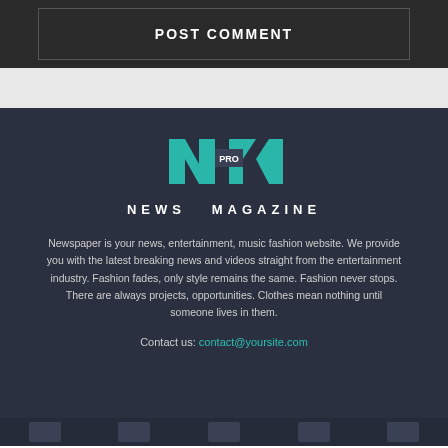POST COMMENT
[Figure (logo): NM PRO News Magazine logo with teal N and M letters and PRO text, followed by NEWS MAGAZINE wordmark in white]
Newspaper is your news, entertainment, music fashion website. We provide you with the latest breaking news and videos straight from the entertainment industry. Fashion fades, only style remains the same. Fashion never stops. There are always projects, opportunities. Clothes mean nothing until someone lives in them.
Contact us: contact@yoursite.com